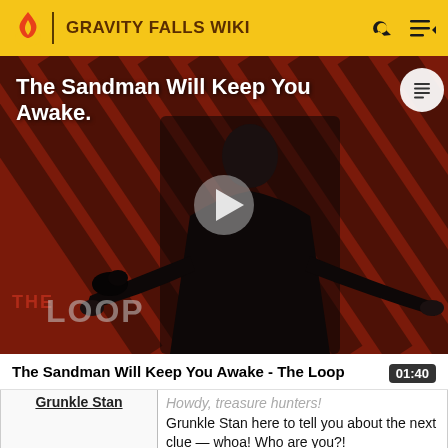GRAVITY FALLS WIKI
[Figure (screenshot): Video thumbnail for 'The Sandman Will Keep You Awake - The Loop' showing a dark figure in a black cape against a diagonal striped red/dark background, with THE LOOP logo visible, a play button in the center, and a list icon in the top right corner.]
The Sandman Will Keep You Awake - The Loop  01:40
| Speaker | Dialogue |
| --- | --- |
| Grunkle Stan | Howdy, treasure hunters!
Grunkle Stan here to tell you about the next clue — whoa! Who are you?! |